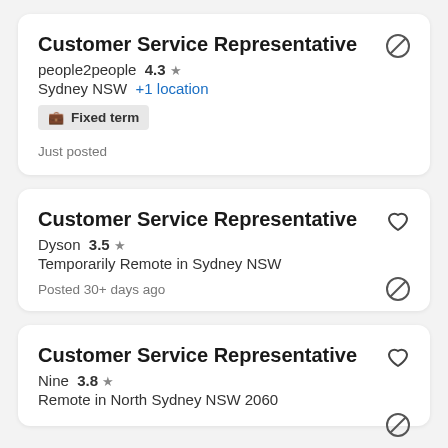Customer Service Representative
people2people 4.3 ★
Sydney NSW +1 location
Fixed term
Just posted
Customer Service Representative
Dyson 3.5 ★
Temporarily Remote in Sydney NSW
Posted 30+ days ago
Customer Service Representative
Nine 3.8 ★
Remote in North Sydney NSW 2060